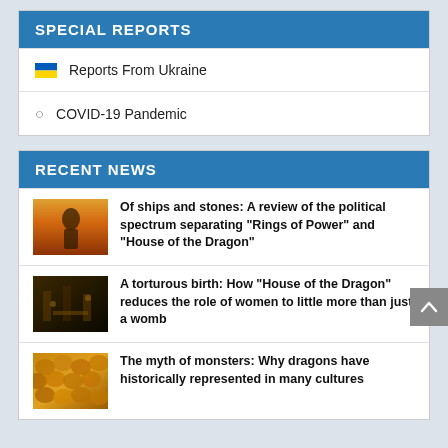SPECIAL REPORTS
🇺🇦 Reports From Ukraine
🦠 COVID-19 Pandemic
RECENT NEWS
[Figure (illustration): Fantasy warrior figure with orange flames background — thumbnail for Rings of Power / House of Dragon article]
Of ships and stones: A review of the political spectrum separating “Rings of Power” and “House of the Dragon”
[Figure (illustration): Dark fantasy interior scene — thumbnail for House of the Dragon women article]
A torturous birth: How “House of the Dragon” reduces the role of women to little more than just a womb
[Figure (illustration): Golden/brown dragon scales close-up — thumbnail for myth of monsters article]
The myth of monsters: Why dragons have historically represented in many cultures